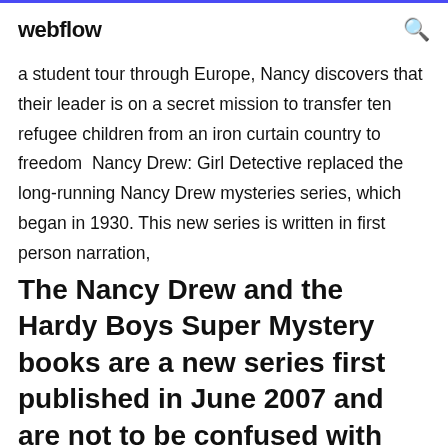webflow
a student tour through Europe, Nancy discovers that their leader is on a secret mission to transfer ten refugee children from an iron curtain country to freedom  Nancy Drew: Girl Detective replaced the long-running Nancy Drew mysteries series, which began in 1930. This new series is written in first person narration,
The Nancy Drew and the Hardy Boys Super Mystery books are a new series first published in June 2007 and are not to be confused with the Nancy Drew and Hardy